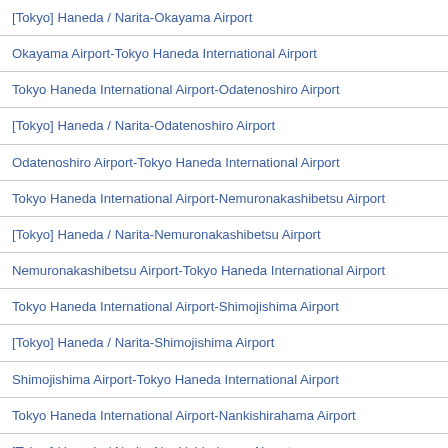[Tokyo] Haneda / Narita-Okayama Airport
Okayama Airport-Tokyo Haneda International Airport
Tokyo Haneda International Airport-Odatenoshiro Airport
[Tokyo] Haneda / Narita-Odatenoshiro Airport
Odatenoshiro Airport-Tokyo Haneda International Airport
Tokyo Haneda International Airport-Nemuronakashibetsu Airport
[Tokyo] Haneda / Narita-Nemuronakashibetsu Airport
Nemuronakashibetsu Airport-Tokyo Haneda International Airport
Tokyo Haneda International Airport-Shimojishima Airport
[Tokyo] Haneda / Narita-Shimojishima Airport
Shimojishima Airport-Tokyo Haneda International Airport
Tokyo Haneda International Airport-Nankishirahama Airport
[Tokyo] Haneda / Narita-Nankishirahama Airport
Nankishirahama Airport-Tokyo Haneda International Airport